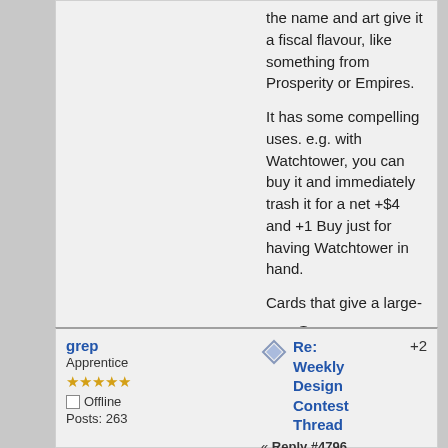the name and art give it a fiscal flavour, like something from Prosperity or Empires.
It has some compelling uses. e.g. with Watchtower, you can buy it and immediately trash it for a net +$4 and +1 Buy just for having Watchtower in hand.
Cards that give a large-font 0 of something are just intrinsically hilarious. (Overgrown Estate.)
« Last Edit: February 17, 2020, 07:17:51 pm by Snowyowl »
Logged
grep
Apprentice
Offline
Posts: 263
Re: Weekly Design Contest Thread
« Reply #4796